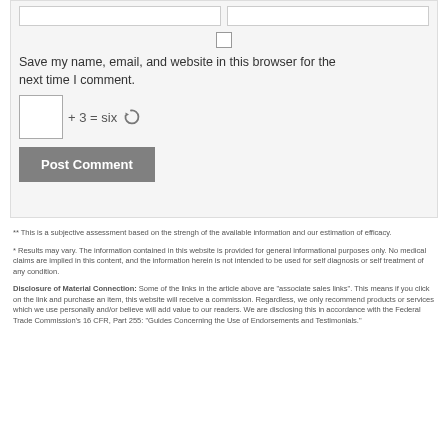[Figure (screenshot): Form section with two input boxes at top, a checkbox centered below, save name/email text, a captcha input row with '+ 3 = six' and refresh icon, and a Post Comment button]
Save my name, email, and website in this browser for the next time I comment.
+ 3 = six
Post Comment
** This is a subjective assessment based on the strengh of the available information and our estimation of efficacy.
* Results may vary. The information contained in this website is provided for general informational purposes only. No medical claims are implied in this content, and the information herein is not intended to be used for self diagnosis or self treatment of any condition.
Disclosure of Material Connection: Some of the links in the article above are "associate sales links". This means if you click on the link and purchase an item, this website will receive a commission. Regardless, we only recommend products or services which we use personally and/or believe will add value to our readers. We are disclosing this in accordance with the Federal Trade Commission's 16 CFR, Part 255: "Guides Concerning the Use of Endorsements and Testimonials."